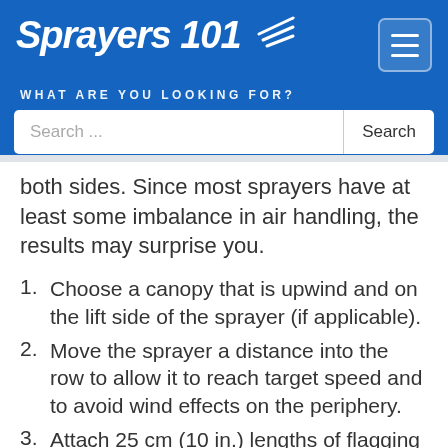Sprayers 101
WHAT ARE YOU LOOKING FOR?
Search ...
both sides. Since most sprayers have at least some imbalance in air handling, the results may surprise you.
Choose a canopy that is upwind and on the lift side of the sprayer (if applicable).
Move the sprayer a distance into the row to allow it to reach target speed and to avoid wind effects on the periphery.
Attach 25 cm (10 in.) lengths of flagging tape